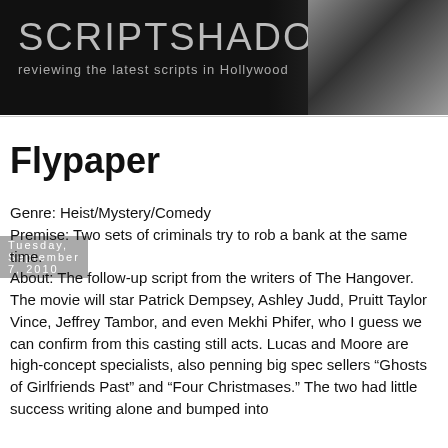[Figure (logo): ScriptShadow website banner — black background with large light gray text 'SCRIPTSHADOW', subtitle 'reviewing the latest scripts in Hollywood', dark photo of a person in upper right corner]
Tuesday, September 7, 2010
Flypaper
Genre: Heist/Mystery/Comedy
Premise: Two sets of criminals try to rob a bank at the same time.
About: The follow-up script from the writers of The Hangover. The movie will star Patrick Dempsey, Ashley Judd, Pruitt Taylor Vince, Jeffrey Tambor, and even Mekhi Phifer, who I guess we can confirm from this casting still acts. Lucas and Moore are high-concept specialists, also penning big spec sellers “Ghosts of Girlfriends Past” and “Four Christmases.” The two had little success writing alone and bumped into